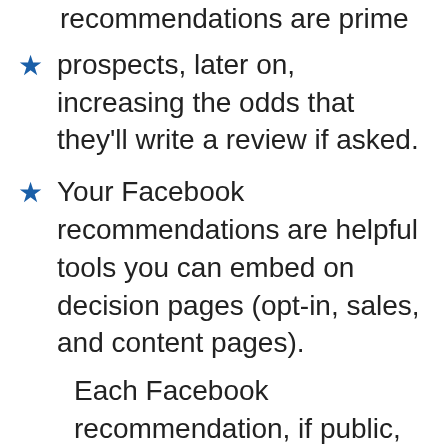recommendations are prime prospects, later on, increasing the odds that they'll write a review if asked.
Your Facebook recommendations are helpful tools you can embed on decision pages (opt-in, sales, and content pages).
Each Facebook recommendation, if public, can be shared by employees, customers, friends of